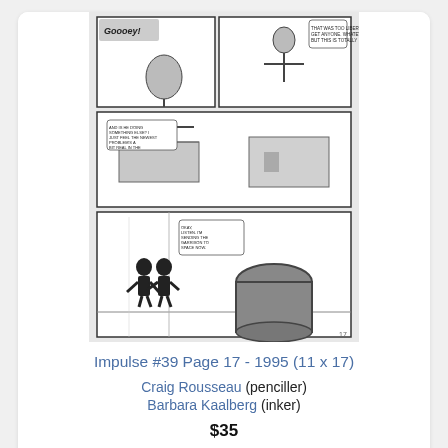[Figure (illustration): Black and white comic book original art page showing multiple panels. Top panels feature a man with speech bubbles, middle panel shows a figure near a helicopter scene, bottom large panel shows two silhouetted figures in a building/warehouse setting with a large barrel.]
Impulse #39 Page 17 - 1995 (11 x 17)
Craig Rousseau (penciller) Barbara Kaalberg (inker)
$35
[Figure (illustration): Partial view of a second comic book original art page, cropped at the bottom of the page.]